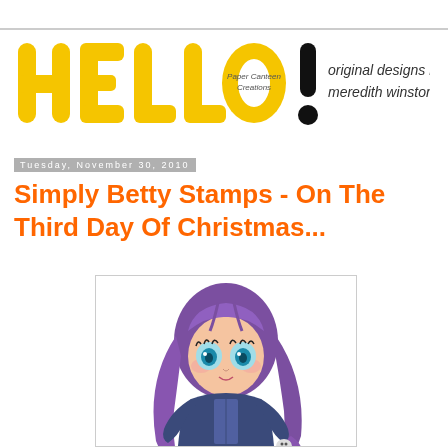[Figure (logo): Paper Canteen Creations blog header logo with HELLO! in large yellow bubble letters and tagline 'original designs by meredith winston' in italic text]
Tuesday, November 30, 2010
Simply Betty Stamps - On The Third Day Of Christmas...
[Figure (illustration): Chibi-style anime girl illustration with long purple hair, wearing a blue and black outfit, holding a small figure, with large teal eyes and a small smile]